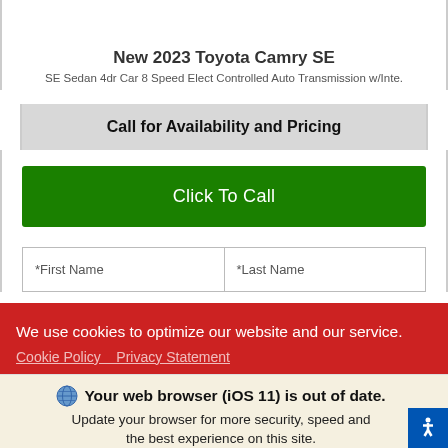New 2023 Toyota Camry SE
SE Sedan 4dr Car 8 Speed Elect Controlled Auto Transmission w/Inte.
Call for Availability and Pricing
Click To Call
*First Name
*Last Name
We use cookies to optimize our website and our service.
Cookie Policy   Privacy Statement
Your web browser (iOS 11) is out of date.
Update your browser for more security, speed and the best experience on this site.
Update browser
Ignore